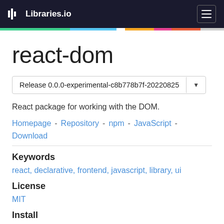Libraries.io
react-dom
Release 0.0.0-experimental-c8b778b7f-20220825
React package for working with the DOM.
Homepage - Repository - npm - JavaScript - Download
Keywords
react, declarative, frontend, javascript, library, ui
License
MIT
Install